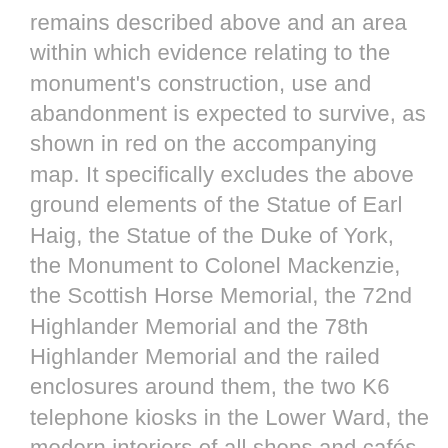remains described above and an area within which evidence relating to the monument's construction, use and abandonment is expected to survive, as shown in red on the accompanying map. It specifically excludes the above ground elements of the Statue of Earl Haig, the Statue of the Duke of York, the Monument to Colonel Mackenzie, the Scottish Horse Memorial, the 72nd Highlander Memorial and the 78th Highlander Memorial and the railed enclosures around them, the two K6 telephone kiosks in the Lower Ward, the modern interiors of all shops and cafés, all structures, fixtures, fittings dating from after 1990, the top 300mm of the esplanade and top 300mm of all paths in Castle Bank to allow for maintenance, the stone retaining walls and steps in Castle Bank to allow for maintenance, the top 300mm of the access road by Wellhouse Tower and the public toilets located off North Castle Wynd (under the